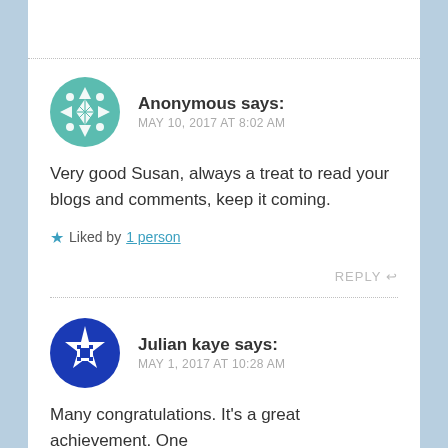Anonymous says:
MAY 10, 2017 AT 8:02 AM
Very good Susan, always a treat to read your blogs and comments, keep it coming.
Liked by 1 person
REPLY
Julian kaye says:
MAY 1, 2017 AT 10:28 AM
Many congratulations. It's a great achievement. One